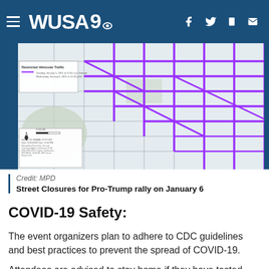WUSA9
[Figure (map): Street map of Washington D.C. showing restricted vehicular traffic routes highlighted in purple/magenta for Pro-Trump rally on January 6. Map includes a legend box labeled 'Restricted Vehicular Traffic' with dates Tuesday January 5, 2021 at 12:01 a.m. through Wednesday January 6, 2021 at 11:59 p.m. Source legend box at bottom left shows DC HSEMA, OCTO GIS information.]
Credit: MPD
Street Closures for Pro-Trump rally on January 6
COVID-19 Safety:
The event organizers plan to adhere to CDC guidelines and best practices to prevent the spread of COVID-19.
Attendees are advised to stay home if they have tested